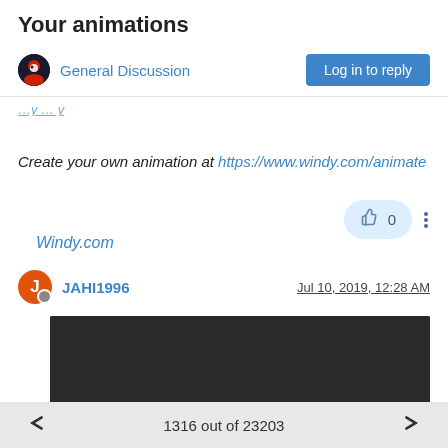Your animations
General Discussion
Log in to reply
Windy.com
Create your own animation at https://www.windy.com/animate
0
JAHI1996
Jul 10, 2019, 12:28 AM
[Figure (screenshot): Embedded video player showing 0:00 timestamp with play button, mute, fullscreen, and more options controls]
1316 out of 23203